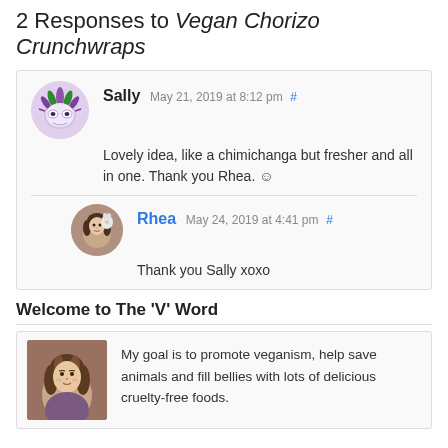2 Responses to Vegan Chorizo Crunchwraps
Sally May 21, 2019 at 8:12 pm # — Lovely idea, like a chimichanga but fresher and all in one. Thank you Rhea. ☺
Rhea May 24, 2019 at 4:41 pm # — Thank you Sally xoxo
Welcome to The 'V' Word
My goal is to promote veganism, help save animals and fill bellies with lots of delicious cruelty-free foods.